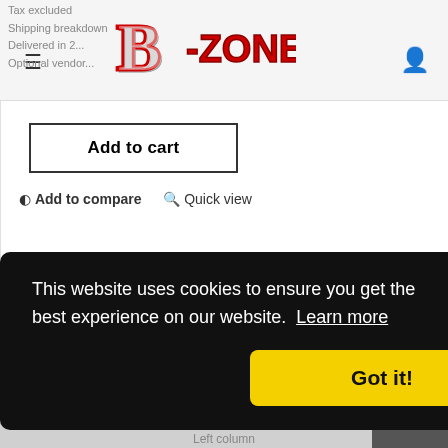B-Zone logo navigation header with hamburger menu and user icon
Tax excluded
Shipping breakdown
Delivered in 2...
Optional vendor...
Add to cart
Add to compare   Quick view
1  2  3
Showing 1 - 12 of 30 items
This website uses cookies to ensure you get the best experience on our website. Learn more
Got it!
Left column